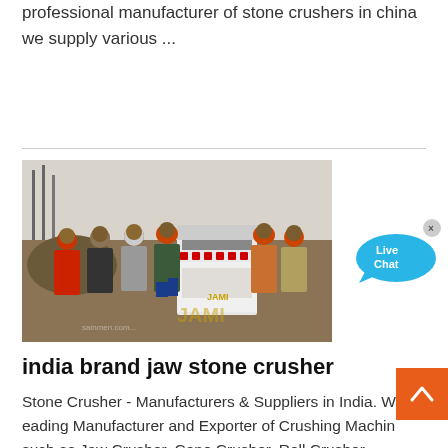professional manufacturer of stone crushers in china we supply various ...
[Figure (photo): Group of workers in hard hats and masks posing with a stone crusher machine at a construction site, watermark visible]
[Figure (other): Live Chat speech bubble widget in blue]
india brand jaw stone crusher
Stone Crusher - Manufacturers & Suppliers in India. W eading Manufacturer and Exporter of Crushing Machin such as Jaw Crusher, Cone Crusher, Roll Crusher, Hammer Mills, Impact Crusher, Vertical Impact Shaft Crusher,